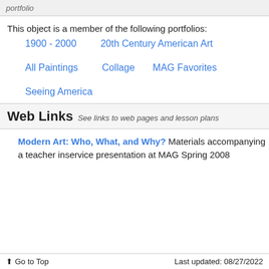portfolio
This object is a member of the following portfolios:
1900 - 2000
20th Century American Art
All Paintings
Collage
MAG Favorites
Seeing America
Web Links  See links to web pages and lesson plans
Modern Art: Who, What, and Why? Materials accompanying a teacher inservice presentation at MAG Spring 2008
Go to Top   Last updated: 08/27/2022